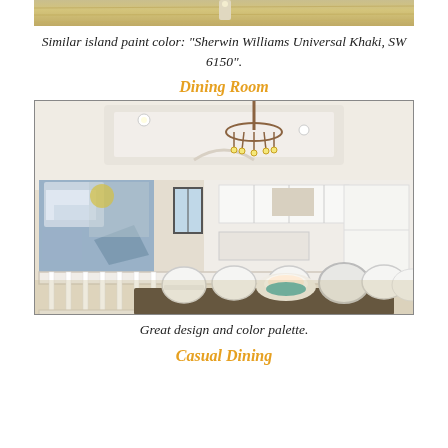[Figure (photo): Top portion of an interior photo showing wooden ceiling/beams with track lighting, partially visible at top of page]
Similar island paint color: “Sherwin Williams Universal Khaki, SW 6150”.
Dining Room
[Figure (photo): Interior photo of a dining room with a dark wood dining table, white ornate chairs, a rustic chandelier, large abstract painting on the left wall, and open kitchen visible in the background with white cabinetry.]
Great design and color palette.
Casual Dining